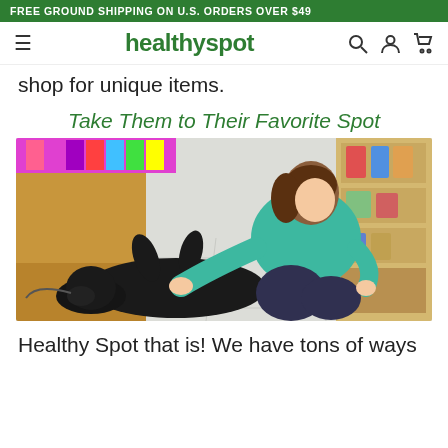FREE GROUND SHIPPING ON U.S. ORDERS OVER $49
healthyspot
shop for unique items.
Take Them to Their Favorite Spot
[Figure (photo): A young woman in a teal hoodie and dark pants kneeling on a tiled floor petting a black Labrador dog lying on its back inside a pet store. Store shelves with colorful products visible in the background.]
Healthy Spot that is! We have tons of ways